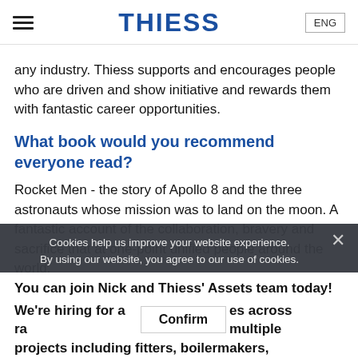THIESS | ENG
any industry. Thiess supports and encourages people who are driven and show initiative and rewards them with fantastic career opportunities.
What book would you recommend everyone read?
Rocket Men - the story of Apollo 8 and the three astronauts whose mission was to land on the moon. A fantastic account of the collaboration, bravery and sacrifice that at one-point unified people around the world.
Cookies help us improve your website experience. By using our website, you agree to our use of cookies.
You can join Nick and Thiess' Assets team today! We're hiring for a range of roles across multiple projects including fitters, boilermakers,